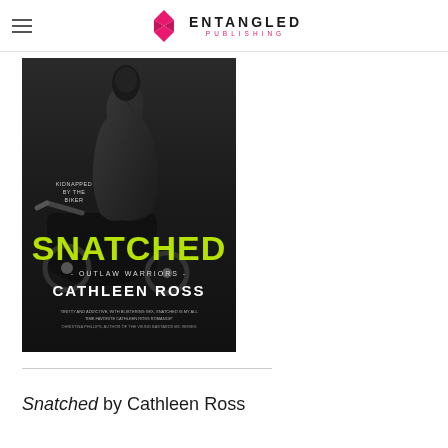Entangled Publishing
[Figure (photo): Book cover of 'Snatched' by Cathleen Ross — Outlaw Warriors series. Features a person in a black leather jacket on a motorcycle. Title 'SNATCHED' in large yellow-green text, subtitle '- OUTLAW WARRIORS -' in white, author name 'CATHLEEN ROSS' in white. Quote at bottom: 'Gritty and addictive, with blistering sex, Snatched is my all time favorite Cathleen Ross Romance! - Christina Phillips, author of the Viking Bastards MC series'. Text on image also says 'KIDNAPPED BY THE BIKER'.]
Snatched by Cathleen Ross